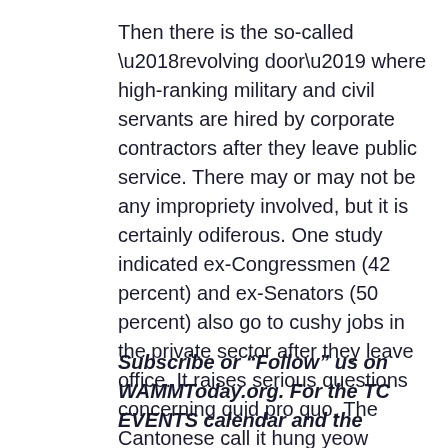Then there is the so-called ‘revolving door’ where high-ranking military and civil servants are hired by corporate contractors after they leave public service. There may or may not be any impropriety involved, but it is certainly odiferous. One study indicated ex-Congressmen (42 percent) and ex-Senators (50 percent) also go to cushy jobs in the private sector after they leave office. It raises serious questions concerning quid pro quo. The Cantonese call it hung yeow (fragrant grease).
Subscribe or “Follow” us on WAMMToday.org. For the TC EVENTS calendar and the